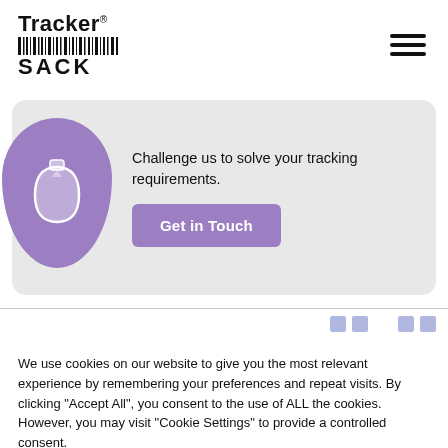[Figure (logo): TrackerSack logo with barcode graphic and hamburger menu icon]
[Figure (infographic): CTA card with purple sack icon and Get in Touch button. Text: Challenge us to solve your tracking requirements.]
We use cookies on our website to give you the most relevant experience by remembering your preferences and repeat visits. By clicking “Accept All”, you consent to the use of ALL the cookies. However, you may visit "Cookie Settings" to provide a controlled consent.
Cookie Settings
Accept All